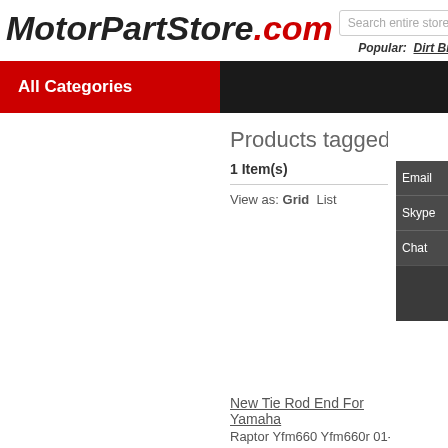[Figure (logo): MotorPartStore.com logo in italic bold font, black with .com in red]
Search entire store
Popular: Dirt Bike
All Categories
Products tagged with 'Y
1 Item(s)
View as: Grid  List
Email
Skype
Chat
New Tie Rod End For Yamaha
Raptor Yfm660 Yfm660r 01-05 Atv